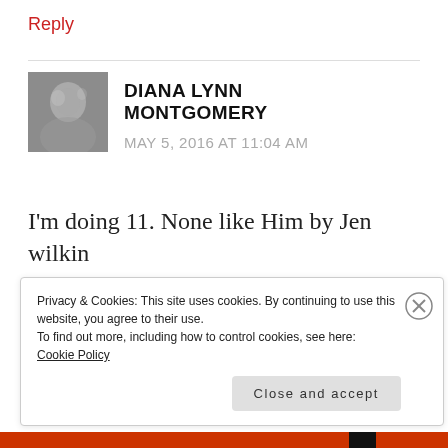Reply
[Figure (photo): Black and white portrait photo of a woman, used as a commenter avatar]
DIANA LYNN MONTGOMERY
MAY 5, 2016 AT 11:04 AM
I'm doing 11. None like Him by Jen wilkin
Privacy & Cookies: This site uses cookies. By continuing to use this website, you agree to their use.
To find out more, including how to control cookies, see here:
Cookie Policy
Close and accept